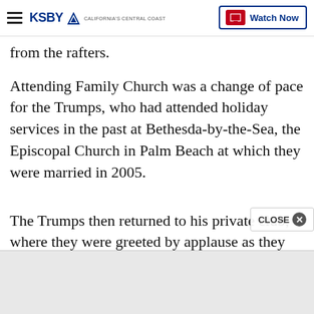KSBY — California's Central Coast | Watch Now
from the rafters.
Attending Family Church was a change of pace for the Trumps, who had attended holiday services in the past at Bethesda-by-the-Sea, the Episcopal Church in Palm Beach at which they were married in 2005.
The Trumps then returned to his private club, where they were greeted by applause as they entered for Christmas Eve dinner. Trump, less than a week after being impeached by the House, did not respond wh
[Figure (other): CLOSE button popup overlay with X icon]